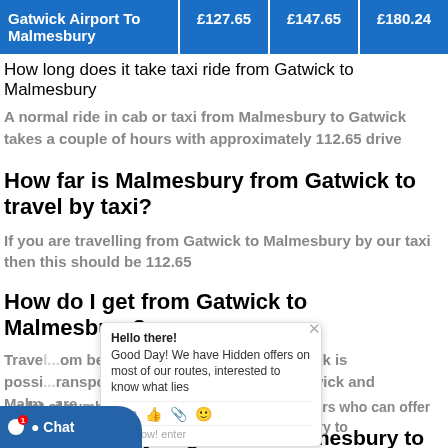| Gatwick Airport To Malmesbury | £127.65 | £147.65 | £180.24 |
| --- | --- | --- | --- |
How long does it take taxi ride from Gatwick to Malmesbury
A normal ride in cab or taxi from Malmesbury to Gatwick takes a couple of hours with approximately 112.65 drive
How far is Malmesbury from Gatwick to travel by taxi?
If you are travelling from Gatwick to Malmesbury by our taxi then this should be 112.65
How do I get from Gatwick to Malmesbury?
Trave...om between Malmesbury and Gatwick is possi...ransport.Cabs/taxis to and from Gatwick and Malm...are
What...est way to get from Malmesbury to Gatw...
...a lot of number of competitive service providers who can offer cheap and affordable taxi rides from Malmesbury to